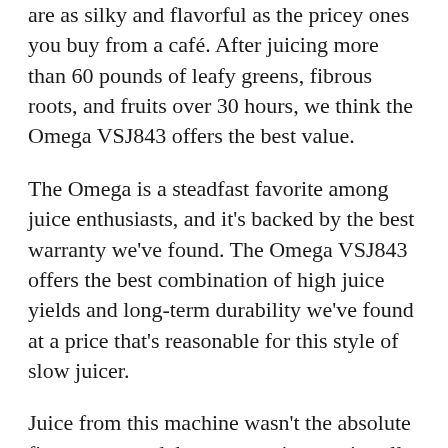are as silky and flavorful as the pricey ones you buy from a café. After juicing more than 60 pounds of leafy greens, fibrous roots, and fruits over 30 hours, we think the Omega VSJ843 offers the best value.
The Omega is a steadfast favorite among juice enthusiasts, and it's backed by the best warranty we've found. The Omega VSJ843 offers the best combination of high juice yields and long-term durability we've found at a price that's reasonable for this style of slow juicer.
Juice from this machine wasn't the absolute finest we tasted, but even so it was virtually pulp-free and full of flavor. The Omega had some of the highest juice yields of any model we tested, leaving some of the driest pulp behind.
The machine itself has a lower profile than other